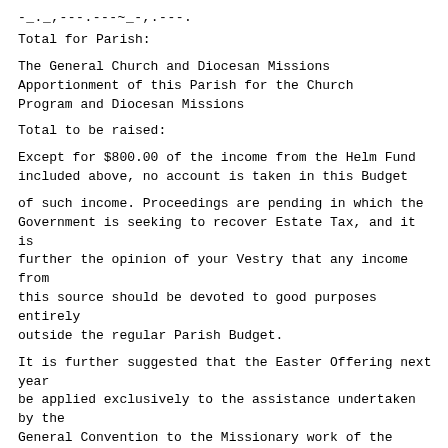-_._,---.---~_-,.---.
Total for Parish:
The General Church and Diocesan Missions Apportionment of this Parish for the Church Program and Diocesan Missions
Total to be raised:
Except for $800.00 of the income from the Helm Fund included above, no account is taken in this Budget
of such income. Proceedings are pending in which the Government is seeking to recover Estate Tax, and it is further the opinion of your Vestry that any income from this source should be devoted to good purposes entirely outside the regular Parish Budget.
It is further suggested that the Easter Offering next year
be applied exclusively to the assistance undertaken by the
General Convention to the Missionary work of the Church of
England, which has been sorely stricken by war conditions.
2,900.00